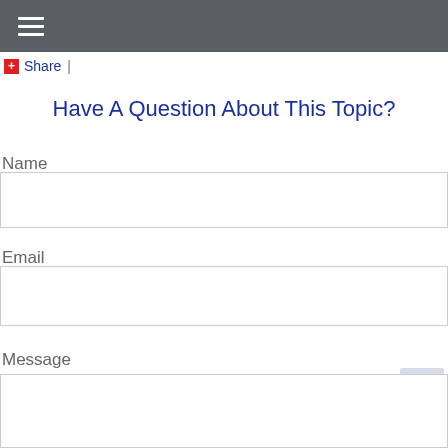[Figure (screenshot): Dark grey navigation header bar with hamburger menu icon (three white horizontal lines)]
+ Share |
Have A Question About This Topic?
Name
Email
Message